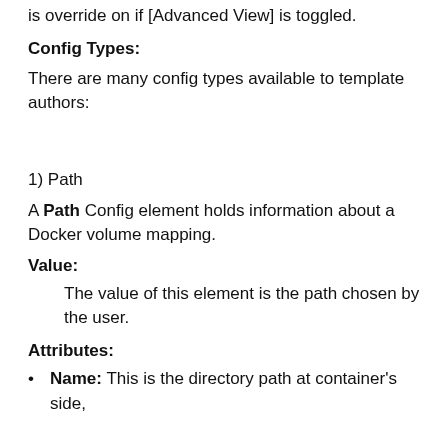is override on if [Advanced View] is toggled.
Config Types:
There are many config types available to template authors:
1) Path
A Path Config element holds information about a Docker volume mapping.
Value:
The value of this element is the path chosen by the user.
Attributes:
Name: This is the directory path at container's side,